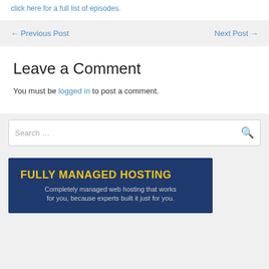click here for a full list of episodes.
← Previous Post   Next Post →
Leave a Comment
You must be logged in to post a comment.
Search …
[Figure (infographic): Advertisement banner for Fully Managed Hosting with dark navy blue background, yellow bold title text 'FULLY MANAGED HOSTING' and white subtitle 'Completely managed web hosting that works for you, because experts built it just for you.']